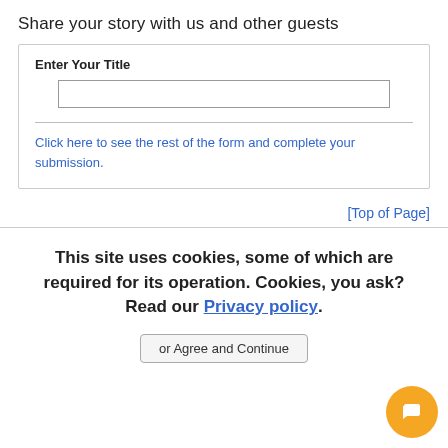Share your story with us and other guests
Enter Your Title
Click here to see the rest of the form and complete your submission.
[Top of Page]
This site uses cookies, some of which are required for its operation. Cookies, you ask? Read our Privacy policy.
or Agree and Continue